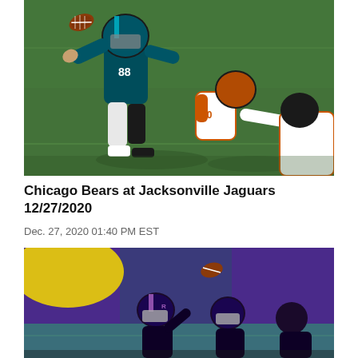[Figure (photo): NFL football action photo: Jacksonville Jaguars player #88 reaching for a fumbled ball on a grass field, with Chicago Bears player #36 nearby on the ground]
Chicago Bears at Jacksonville Jaguars 12/27/2020
Dec. 27, 2020 01:40 PM EST
[Figure (photo): NFL football action photo: Baltimore Ravens players in dark uniforms on an indoor field with purple/blue banners, football visible in the air]